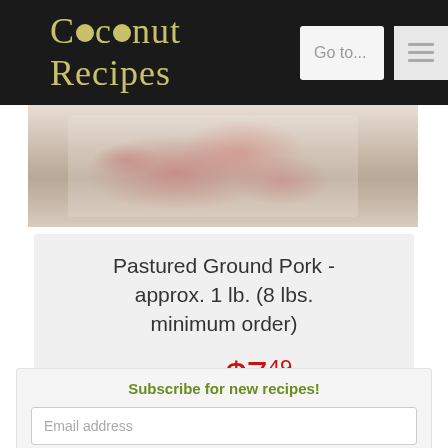[Figure (screenshot): Coconut Recipes website header with dark background, logo in gold/olive text, search bar saying 'Go to...', and hamburger menu icon]
[Figure (photo): Partial photo of raw ground/minced pork meat in a package]
Pastured Ground Pork - approx. 1 lb. (8 lbs. minimum order)
$15.00 $7.49 (sale price, original price struck through)
Subscribe for new recipes!
Email address
Sign Up!